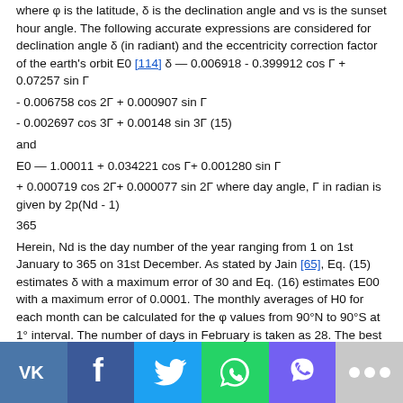where φ is the latitude, δ is the declination angle and vs is the sunset hour angle. The following accurate expressions are considered for declination angle δ (in radiant) and the eccentricity correction factor of the earth's orbit E0 [114] δ — 0.006918 - 0.399912 cos Γ + 0.07257 sin Γ
- 0.006758 cos 2Γ + 0.000907 sin Γ
- 0.002697 cos 3Γ + 0.00148 sin 3Γ (15)
and
E0 — 1.00011 + 0.034221 cos Γ+ 0.001280 sin Γ
+ 0.000719 cos 2Γ+ 0.000077 sin 2Γ where day angle, Γ in radian is given by 2p(Nd - 1)
365
Herein, Nd is the day number of the year ranging from 1 on 1st January to 365 on 31st December. As stated by Jain [65], Eq. (15) estimates δ with a maximum error of 30 and Eq. (16) estimates E00 with a maximum error of 0.0001. The monthly averages of H0 for each month can be calculated for the φ values from 90°N to 90°S at 1° interval. The number of days in February is taken as 28. The best value of the solar constant available at present is Isc — 1360 Wm-2 [40].
[Figure (other): Social media sharing buttons: VK, Facebook, Twitter, WhatsApp, Viber, More]